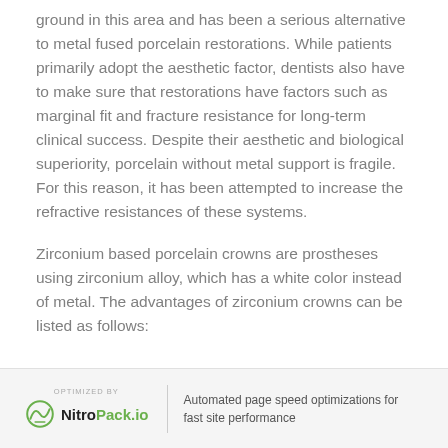ground in this area and has been a serious alternative to metal fused porcelain restorations. While patients primarily adopt the aesthetic factor, dentists also have to make sure that restorations have factors such as marginal fit and fracture resistance for long-term clinical success. Despite their aesthetic and biological superiority, porcelain without metal support is fragile. For this reason, it has been attempted to increase the refractive resistances of these systems.
Zirconium based porcelain crowns are prostheses using zirconium alloy, which has a white color instead of metal. The advantages of zirconium crowns can be listed as follows:
OPTIMIZED BY NitroPack.io | Automated page speed optimizations for fast site performance